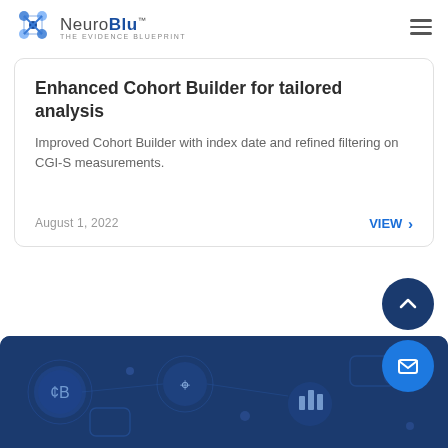NeuroBlu™ THE EVIDENCE BLUEPRINT
Enhanced Cohort Builder for tailored analysis
Improved Cohort Builder with index date and refined filtering on CGI-S measurements.
August 1, 2022
VIEW >
[Figure (illustration): Dark navy blue banner at bottom with circular analytics icons (bar chart icon, cursor/analytics icon, currency/data icon) and decorative network nodes on a dark blue background]